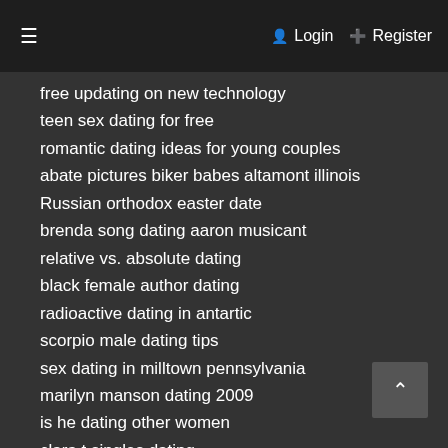☰  Login  + Register
free updating on new technology
teen sex dating for free
romantic dating ideas for young couples
abate pictures biker babes altamont illinois
Russian orthodox easter date
brenda song dating aaron musicant
relative vs. absolute dating
black female author dating
radioactive dating in antartic
scorpio male dating tips
sex dating in milltown pennsylvania
marilyn manson dating 2009
is he dating other women
clara t singles dating
updating windows 2000 to sp4
who jennifer aniston dating
black men white women dating forum
fact about teen dating
sex dating in elmwood nebraska
dating norms for african american teenagers
dating laws in indiana